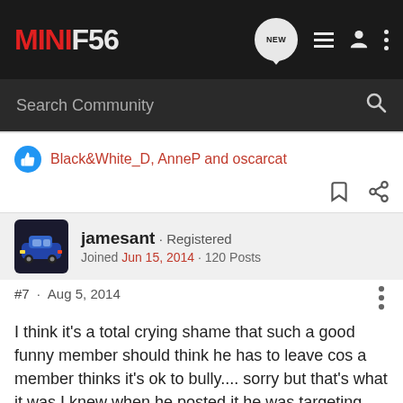MINIF56
Search Community
Black&White_D, AnneP and oscarcat
jamesant · Registered
Joined Jun 15, 2014 · 120 Posts
#7 · Aug 5, 2014
I think it's a total crying shame that such a good funny member should think he has to leave cos a member thinks it's ok to bully.... sorry but that's what it was I knew when he posted it he was targeting GK7 why because he brings humour into the debate. Well he got his way this forum will go the same way as